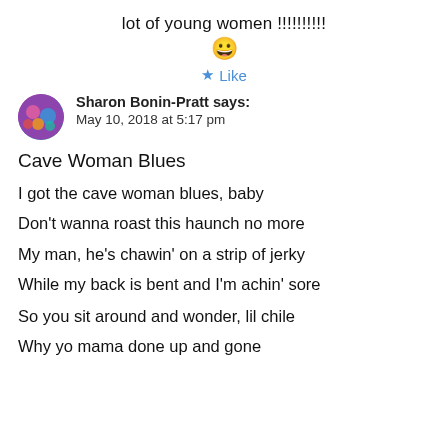lot of young women !!!!!!!!!
😀
★ Like
Sharon Bonin-Pratt says: May 10, 2018 at 5:17 pm
Cave Woman Blues
I got the cave woman blues, baby
Don't wanna roast this haunch no more
My man, he's chawin' on a strip of jerky
While my back is bent and I'm achin' sore
So you sit around and wonder, lil chile
Why yo mama done up and gone